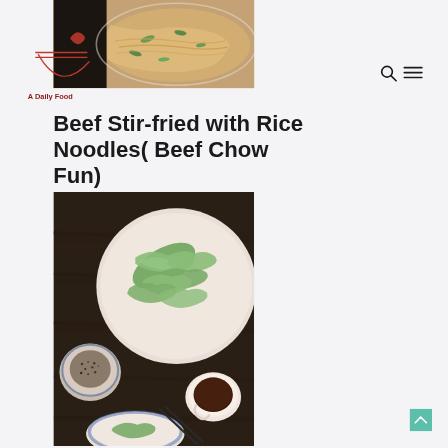[Figure (photo): Top-down photo of beef stir-fried rice noodles (chow fun) with green onions on a white plate]
[Figure (logo): A Daily Food logo with red chopsticks and bowl graphic and red text]
[Figure (other): Search and hamburger menu icons in the top right navigation]
Beef Stir-fried with Rice Noodles( Beef Chow Fun)
[Figure (photo): Top-down photo of green dumplings in a white bowl, with small bowls of sauce and seasoning, and chopsticks on a wooden table]